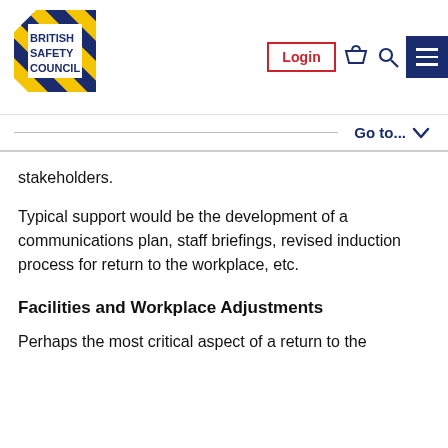[Figure (logo): British Safety Council logo with diagonal blue and yellow stripes and blue text]
Login  [basket icon]  [search icon]  [menu icon]
Go to...
stakeholders.
Typical support would be the development of a communications plan, staff briefings, revised induction process for return to the workplace, etc.
Facilities and Workplace Adjustments
Perhaps the most critical aspect of a return to the